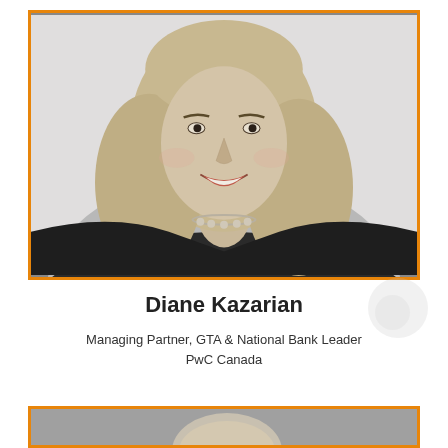[Figure (photo): Black and white portrait photo of Diane Kazarian, a smiling woman with long wavy blonde hair wearing a dark jacket and pearl necklace, framed with an orange border]
Diane Kazarian
Managing Partner, GTA & National Bank Leader
PwC Canada
[Figure (photo): Black and white portrait photo partially visible at bottom of page, showing top of a person's head, framed with an orange border]